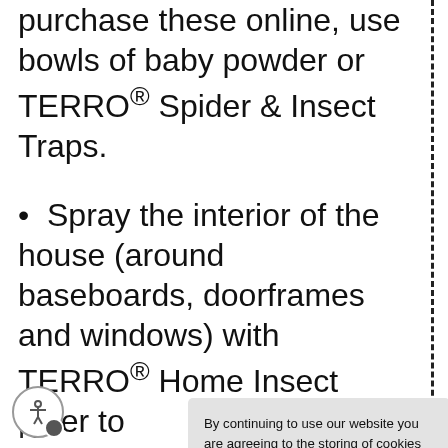purchase these online, use bowls of baby powder or TERRO® Spider & Insect Traps.
• Spray the interior of the house (around baseboards, doorframes and windows) with TERRO® Home Insect Killer to
By continuing to use our website you are agreeing to the storing of cookies on your device to enhance site navigation, analyze site usage, and assist in our marketing efforts. By using our website, you agree to our Privacy Policy and our Cookies Policy.
I agree